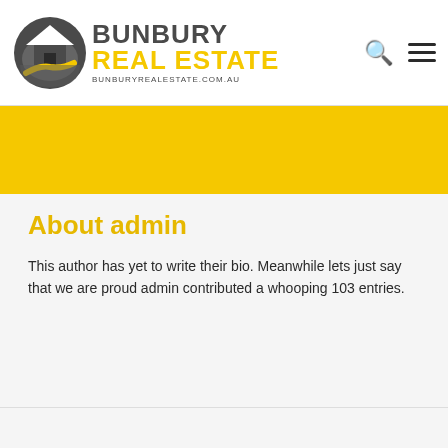[Figure (logo): Bunbury Real Estate logo with circular house icon, text BUNBURY REAL ESTATE in dark grey and yellow, and BUNBURYREALESTATE.COM.AU subtitle]
[Figure (other): Yellow banner strip across full width]
About admin
This author has yet to write their bio. Meanwhile lets just say that we are proud admin contributed a whooping 103 entries.